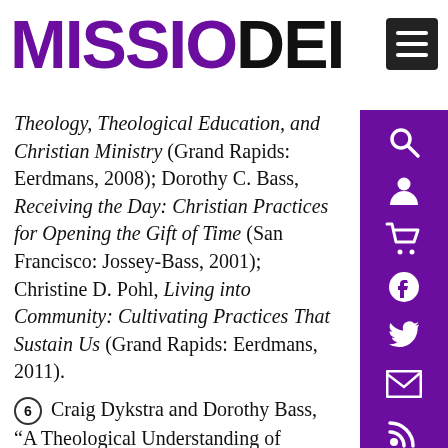MISSIO DEI
Theology, Theological Education, and Christian Ministry (Grand Rapids: Eerdmans, 2008); Dorothy C. Bass, Receiving the Day: Christian Practices for Opening the Gift of Time (San Francisco: Jossey-Bass, 2001); Christine D. Pohl, Living into Community: Cultivating Practices That Sustain Us (Grand Rapids: Eerdmans, 2011).
6 Craig Dykstra and Dorothy Bass, “A Theological Understanding of Christian Practices,” in Practicing Theology: Beliefs and Practices in Christian Life, ed. Miroslav Volf and Dorothy Bass (Grand Rapids: Eerdmans, 2002), 18.